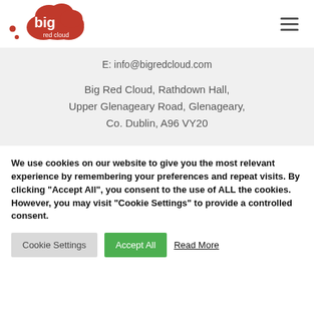[Figure (logo): Big Red Cloud logo — red cloud shape with white 'big' text and 'red cloud' below, with small red dots to the left]
E: info@bigredcloud.com
Big Red Cloud, Rathdown Hall, Upper Glenageary Road, Glenageary, Co. Dublin, A96 VY20
We use cookies on our website to give you the most relevant experience by remembering your preferences and repeat visits. By clicking "Accept All", you consent to the use of ALL the cookies. However, you may visit "Cookie Settings" to provide a controlled consent.
Cookie Settings | Accept All | Read More